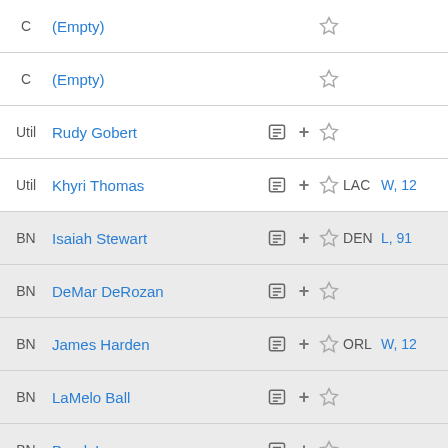| Pos | Player |  | + | ★ | Team | Result |
| --- | --- | --- | --- | --- | --- | --- |
| C | (Empty) |  |  | ★ |  |  |
| C | (Empty) |  |  | ★ |  |  |
| Util | Rudy Gobert | ≡ | + | ★ |  |  |
| Util | Khyri Thomas | ≡ | + | ★ | LAC | W, 12… |
| BN | Isaiah Stewart | ≡ | + | ★ | DEN | L, 91… |
| BN | DeMar DeRozan | ≡ | + | ★ |  |  |
| BN | James Harden | ≡ | + | ★ | ORL | W, 12… |
| BN | LaMelo Ball | ≡ | + | ★ |  |  |
| BN | Brook Lopez | ≡ | + | ★ |  |  |
| BN | Derrick Rose | ≡ | + | ★ |  |  |
| BN | Kelly Oubre Jr. | ≡ | + | ★ |  |  |